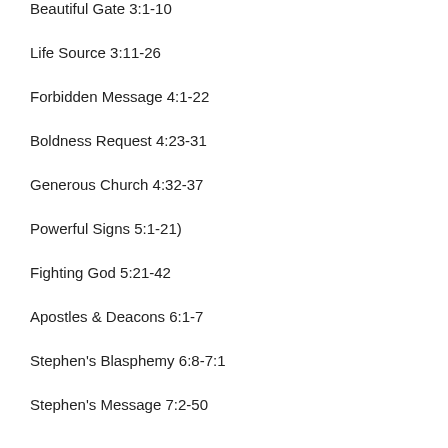Beautiful Gate 3:1-10
Life Source 3:11-26
Forbidden Message 4:1-22
Boldness Request 4:23-31
Generous Church 4:32-37
Powerful Signs 5:1-21)
Fighting God 5:21-42
Apostles & Deacons 6:1-7
Stephen's Blasphemy 6:8-7:1
Stephen's Message 7:2-50